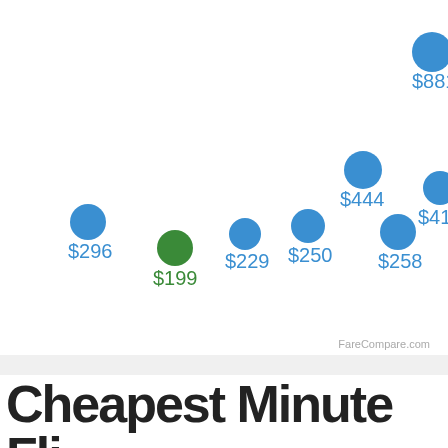[Figure (scatter-plot): Flight prices scatter]
Cheapest Minute Fli...